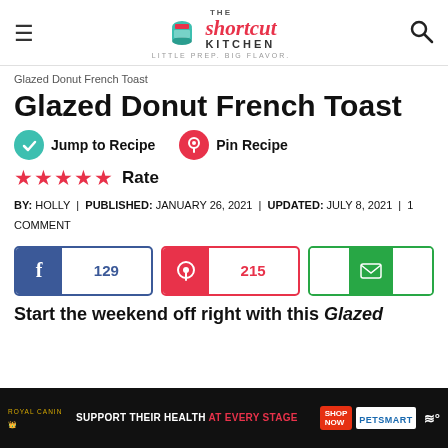THE shortcut KITCHEN — LITTLE PREP. BIG FLAVOR.
Glazed Donut French Toast
Glazed Donut French Toast
Jump to Recipe | Pin Recipe
★★★★★ Rate
BY: HOLLY | PUBLISHED: JANUARY 26, 2021 | UPDATED: JULY 8, 2021 | 1 COMMENT
[Figure (infographic): Social share buttons: Facebook (129 shares), Pinterest (215 shares), Email]
Start the weekend off right with this Glazed ...easy!
[Figure (photo): Royal Canin advertisement: Support Their Health At Every Stage — PetSmart]